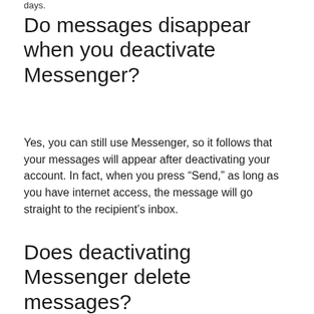days.
Do messages disappear when you deactivate Messenger?
Yes, you can still use Messenger, so it follows that your messages will appear after deactivating your account. In fact, when you press “Send,” as long as you have internet access, the message will go straight to the recipient’s inbox.
Does deactivating Messenger delete messages?